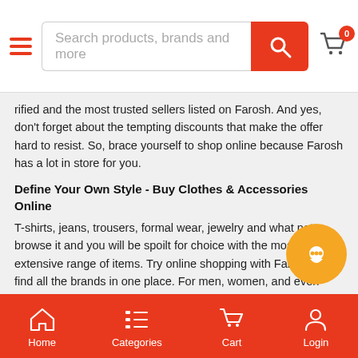[Figure (screenshot): Mobile app top navigation bar with hamburger menu, search box with placeholder 'Search products, brands and more', orange search button, and cart icon with badge showing 0]
rified and the most trusted sellers listed on Farosh. And yes, don't forget about the tempting discounts that make the offer hard to resist. So, brace yourself to shop online because Farosh has a lot in store for you.
Define Your Own Style - Buy Clothes & Accessories Online
T-shirts, jeans, trousers, formal wear, jewelry and what not – browse it and you will be spoilt for choice with the most extensive range of items. Try online shopping with Farosh and find all the brands in one place. For men, women, and even children, Farosh offers apparel for all and helps you define your own style!
Buy Electronics Online at Reasonable Prices
Managing your home becomes easy with the right appliances. If we take a look at our home, we notice that our life is very much dependent on electronics and without them, it is not possible to live a com
[Figure (screenshot): Mobile app bottom navigation bar with Home, Categories, Cart, and Login icons in white on orange background]